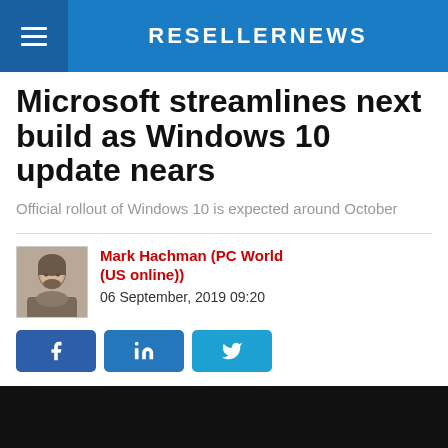RESELLERNEWS
Microsoft streamlines next build as Windows 10 update nears
Official rollout of Windows 10 is expected around October
Mark Hachman (PC World (US online))
06 September, 2019 09:20
[Figure (photo): Social media sharing buttons: Facebook, LinkedIn, Twitter]
[Figure (photo): Dark image block with credit: Credit: Dreamstime]
Credit: Dreamstime
With a month or so to go before Microsoft drops the